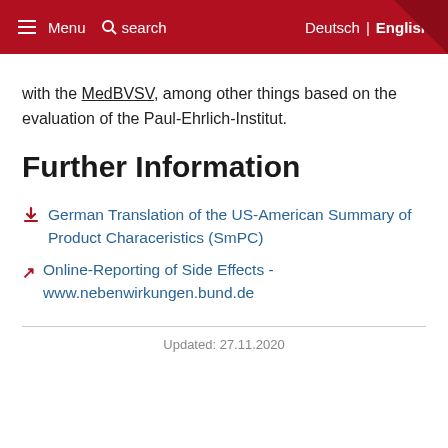Menu  search  Deutsch | English
with the MedBVSV, among other things based on the evaluation of the Paul-Ehrlich-Institut.
Further Information
German Translation of the US-American Summary of Product Characeristics (SmPC)
Online-Reporting of Side Effects - www.nebenwirkungen.bund.de
Updated: 27.11.2020